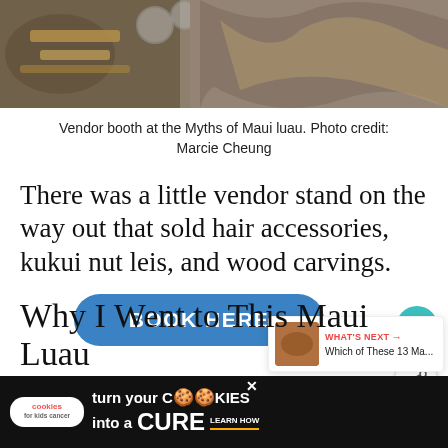[Figure (photo): Top portion of a vendor booth at the Myths of Maui luau, showing jewelry and colorful items]
Vendor booth at the Myths of Maui luau. Photo credit: Marcie Cheung
There was a little vendor stand on the way out that sold hair accessories, kukui nut leis, and wood carvings.
[Figure (other): BOOK HERE button - blue rounded rectangle call-to-action button]
Why I Went to This Maui Luau
[Figure (infographic): Cookies for Kids Cancer advertisement banner at bottom: turn your COOKIES into a CURE LEARN HOW]